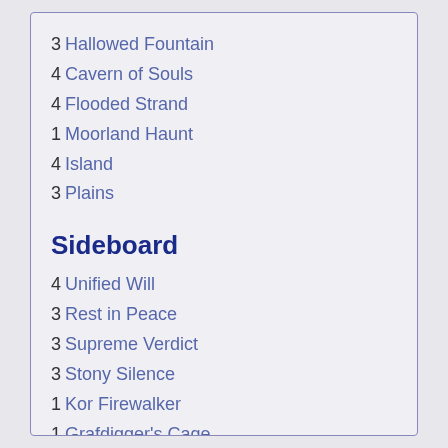3 Hallowed Fountain
4 Cavern of Souls
4 Flooded Strand
1 Moorland Haunt
4 Island
3 Plains
Sideboard
4 Unified Will
3 Rest in Peace
3 Supreme Verdict
3 Stony Silence
1 Kor Firewalker
1 Grafdigger's Cage